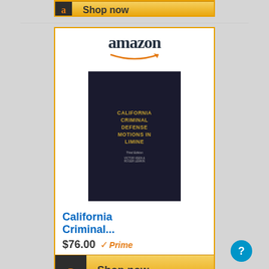[Figure (screenshot): Partial Amazon product card showing Shop now button at top of page]
[Figure (screenshot): Amazon product card for 'California Criminal Defense Motions in Limine' book priced at $76.00 with Prime badge and Shop now button]
[Figure (screenshot): Partial Amazon product card for Prisoners Self-Help Litigation Manual at bottom of page]
[Figure (other): Help/question mark button circle in bottom right corner]